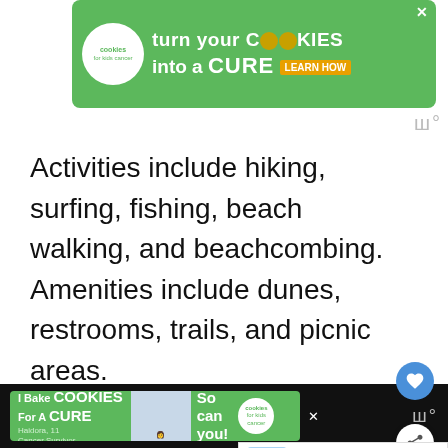[Figure (other): Green advertisement banner for 'cookies for kids cancer' charity — text reads 'turn your COOKIES into a CURE LEARN HOW']
Activities include hiking, surfing, fishing, beach walking, and beachcombing. Amenities include dunes, restrooms, trails, and picnic areas.
You should avoid bringing your dogs along because they aren't allowed on the trails or the beach.
[Figure (other): Bottom advertisement banner for 'I Bake COOKIES For A CURE' featuring a girl and a 'So can you!' tagline with cookies for kids cancer badge]